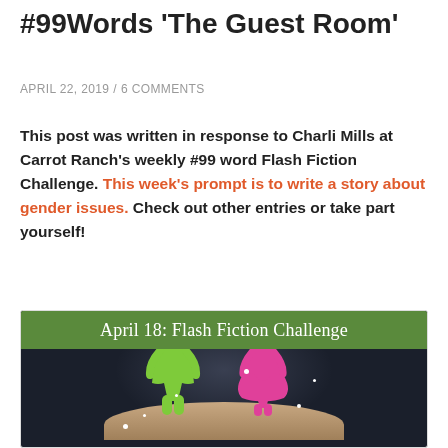#99Words 'The Guest Room'
APRIL 22, 2019 / 6 COMMENTS
This post was written in response to Charli Mills at Carrot Ranch's weekly #99 word Flash Fiction Challenge. This week's prompt is to write a story about gender issues. Check out other entries or take part yourself!
[Figure (photo): Flash Fiction Challenge promotional image showing a green male figure and pink female figure standing on a human finger against a dark background, with a green banner reading 'April 18: Flash Fiction Challenge']